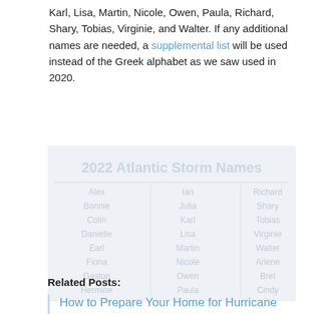Karl, Lisa, Martin, Nicole, Owen, Paula, Richard, Shary, Tobias, Virginie, and Walter. If any additional names are needed, a supplemental list will be used instead of the Greek alphabet as we saw used in 2020.
[Figure (table-as-image): Faded/watermarked image of a 2022 Atlantic Storm Names table with three columns of storm names]
Related Posts:
How to Prepare Your Home for Hurricane Season